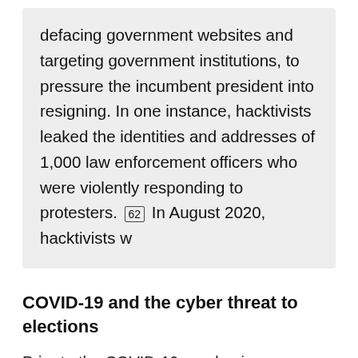defacing government websites and targeting government institutions, to pressure the incumbent president into resigning. In one instance, hacktivists leaked the identities and addresses of 1,000 law enforcement officers who were violently responding to protesters. [62] In August 2020, hacktivists w
COVID-19 and the cyber threat to elections
Prior to the COVID-19 pandemic, some parts of the election process, like voter